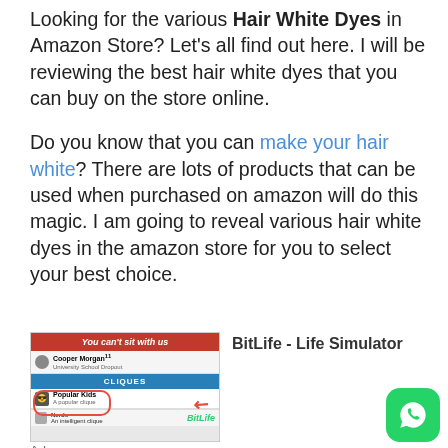Looking for the various Hair White Dyes in Amazon Store? Let's all find out here. I will be reviewing the best hair white dyes that you can buy on the store online.
Do you know that you can make your hair white? There are lots of products that can be used when purchased on amazon will do this magic. I am going to reveal various hair white dyes in the amazon store for you to select your best choice.
[Figure (other): BitLife - Life Simulator advertisement showing a social media style interface with 'You can't sit with us' text, cliques interface, Popular Kids highlighted in red circle, and BitLife logo. WhatsApp button also visible.]
Ad